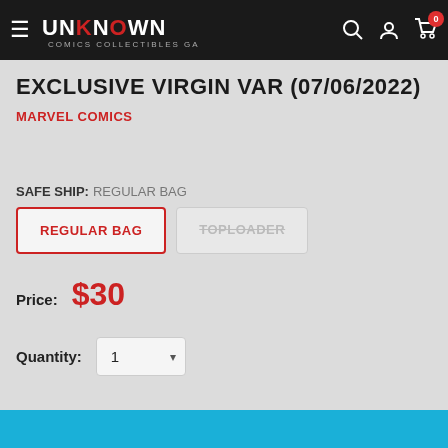Unknown Comics — Navigation bar with logo, search, account, cart (0)
EXCLUSIVE VIRGIN VAR (07/06/2022)
MARVEL COMICS
SAFE SHIP: REGULAR BAG
REGULAR BAG | TOPLOADER
Price: $30
Quantity: 1